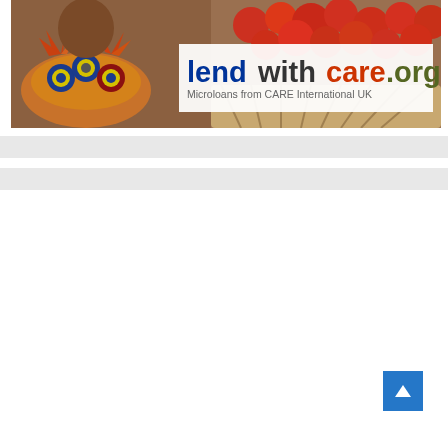[Figure (photo): Banner image showing a smiling African woman in colorful traditional attire at a market with tomatoes, overlaid with the lendwithcare.org logo and tagline 'Microloans from CARE International UK']